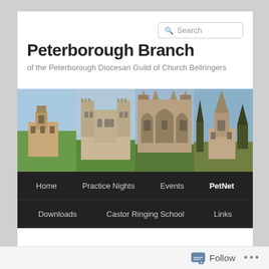Search
Peterborough Branch
of the Peterborough Diocesan Guild of Church Bellringers
[Figure (photo): Strip of four photographs showing different church buildings and cathedrals]
Home
Practice Nights
Events
PetNet
Downloads
Castor Ringing School
Links
Follow ...